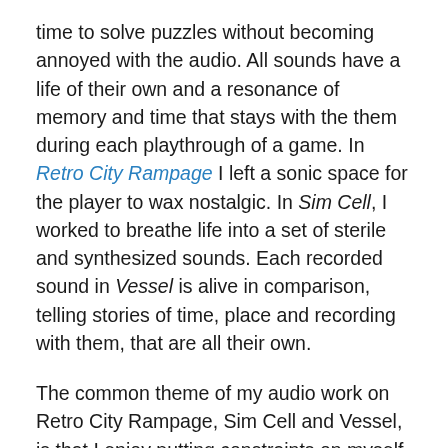time to solve puzzles without becoming annoyed with the audio. All sounds have a life of their own and a resonance of memory and time that stays with the them during each playthrough of a game. In Retro City Rampage I left a sonic space for the player to wax nostalgic. In Sim Cell, I worked to breathe life into a set of sterile and synthesized sounds. Each recorded sound in Vessel is alive in comparison, telling stories of time, place and recording with them, that are all their own.
The common theme of my audio work on Retro City Rampage, Sim Cell and Vessel, is that I enjoy putting constraints on myself to inspire my creativity. I focus on what works and removing non-essential elements. Exploring the limits of constraints often provokes interesting and unpredictable results. I like